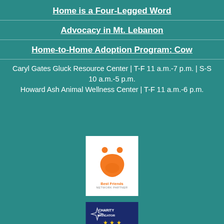Home is a Four-Legged Word
Advocacy in Mt. Lebanon
Home-to-Home Adoption Program: Cow
Caryl Gates Gluck Resource Center | T-F 11 a.m.-7 p.m. | S-S 10 a.m.-5 p.m.
Howard Ash Animal Wellness Center | T-F 11 a.m.-6 p.m.
[Figure (logo): Best Friends Network Partner logo — orange animal face/paw icon on white background with 'Best Friends NETWORK PARTNER' text]
[Figure (logo): Charity Navigator logo — dark blue badge with star/compass icon and gold stars at bottom, text 'CHARITY NAVIGATOR']